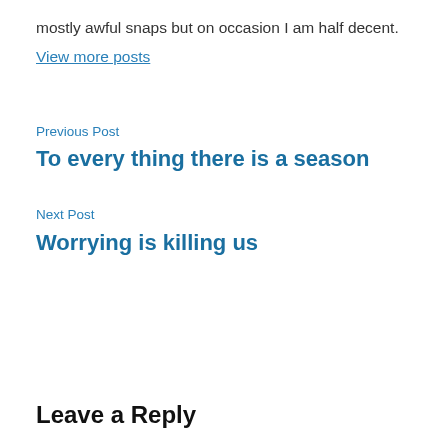mostly awful snaps but on occasion I am half decent.
View more posts
Previous Post
To every thing there is a season
Next Post
Worrying is killing us
Leave a Reply